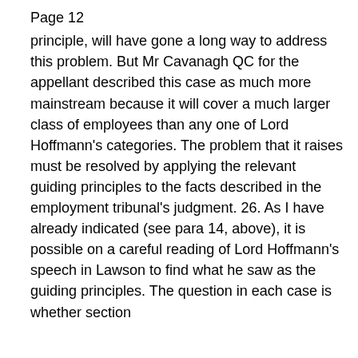Page 12
principle, will have gone a long way to address this problem. But Mr Cavanagh QC for the appellant described this case as much more mainstream because it will cover a much larger class of employees than any one of Lord Hoffmann's categories. The problem that it raises must be resolved by applying the relevant guiding principles to the facts described in the employment tribunal's judgment. 26. As I have already indicated (see para 14, above), it is possible on a careful reading of Lord Hoffmann's speech in Lawson to find what he saw as the guiding principles. The question in each case is whether section